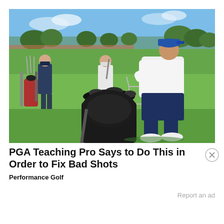[Figure (photo): Outdoor golf driving range scene. A large man in a white shirt, blue cap, and navy shorts is bent over in a golf stance near a golf bag in the foreground. Two other men stand in the background watching. Green fairway, trees, and blue sky visible.]
PGA Teaching Pro Says to Do This in Order to Fix Bad Shots
Performance Golf
Report an ad